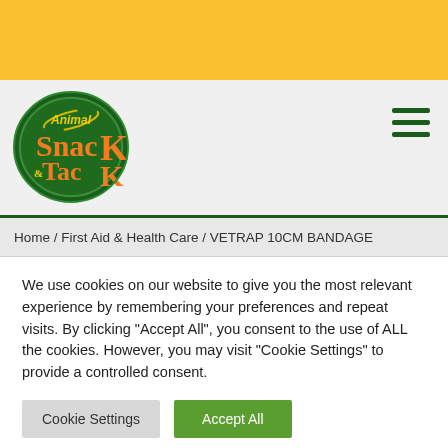[Figure (logo): Animal Snack & Tack oval green logo with orange and yellow text]
Home / First Aid & Health Care / VETRAP 10CM BANDAGE
We use cookies on our website to give you the most relevant experience by remembering your preferences and repeat visits. By clicking "Accept All", you consent to the use of ALL the cookies. However, you may visit "Cookie Settings" to provide a controlled consent.
Cookie Settings
Accept All